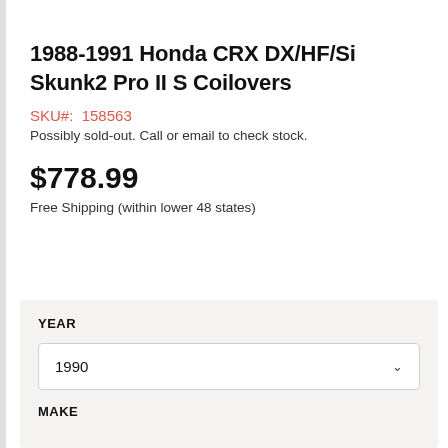1988-1991 Honda CRX DX/HF/Si Skunk2 Pro II S Coilovers
SKU#: 158563
Possibly sold-out. Call or email to check stock.
$778.99
Free Shipping (within lower 48 states)
YEAR
1990
MAKE